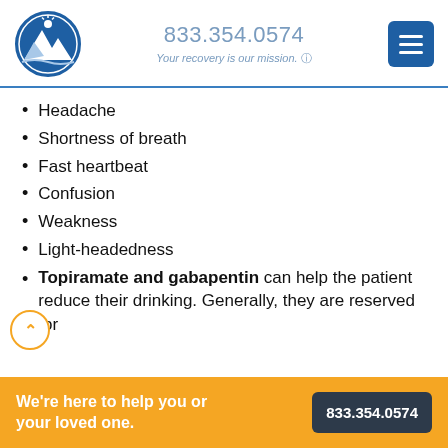833.354.0574 — Your recovery is our mission.
Headache
Shortness of breath
Fast heartbeat
Confusion
Weakness
Light-headedness
Topiramate and gabapentin can help the patient reduce their drinking. Generally, they are reserved for
We're here to help you or your loved one.
833.354.0574